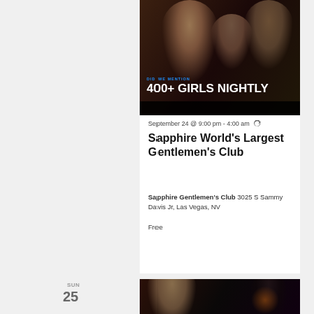[Figure (photo): Dark nightclub photo with overlay text 'DID WE MENTION' in blue and '400+ GIRLS NIGHTLY' in large white bold text]
September 24 @ 9:00 pm - 4:00 am (recurring)
Sapphire World's Largest Gentlemen's Club
Sapphire Gentlemen's Club 3025 S Sammy Davis Jr, Las Vegas, NV
Free
SUN 25
[Figure (photo): Dark nightclub photo showing a woman in foreground with dark background]